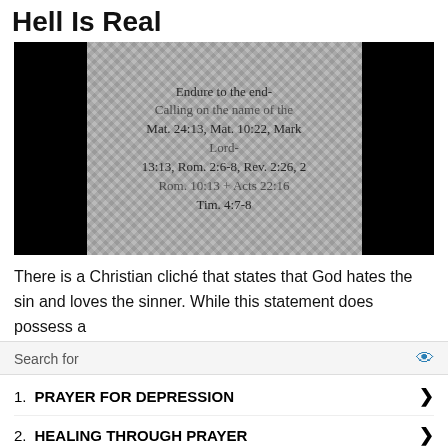Hell Is Real
[Figure (photo): Image with text overlay on a textured stone/knit background. Text reads: 'Endure to the end- Mat. 24:13, Mat. 10:22, Mark 13:13, Rom. 2:6-8, Rev. 2:26, 2 Tim. 4:7-8' overlapping with 'Calling on the name of the Lord- Rom. 10:13 + Acts 22:16'. Black bars on left and right sides.]
There is a Christian cliché that states that God hates the sin and loves the sinner. While this statement does possess a
Search for
1.  PRAYER FOR DEPRESSION
2.  HEALING THROUGH PRAYER
Ad | Business Focus